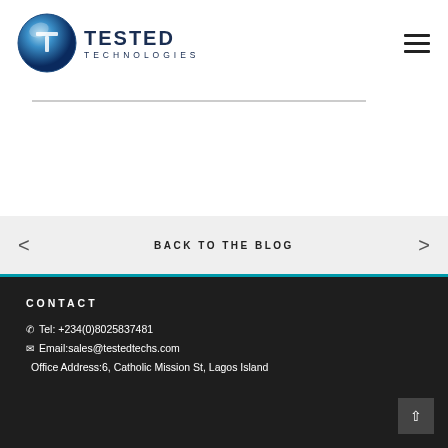[Figure (logo): Tested Technologies globe logo with blue sphere and letter T icon, alongside text 'TESTED TECHNOLOGIES']
BACK TO THE BLOG
CONTACT
Tel: +234(0)8025837481
Email:sales@testedtechs.com
Office Address:6, Catholic Mission St, Lagos Island